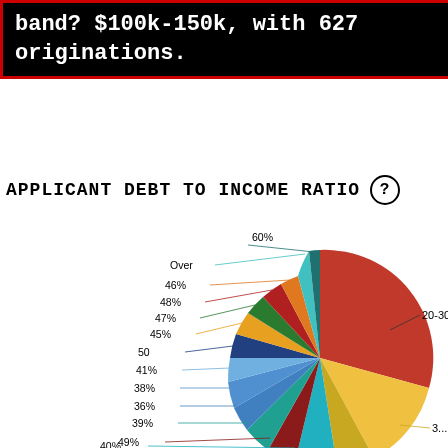band? $100k-150k, with 627 originations.
APPLICANT DEBT TO INCOME RATIO
[Figure (pie-chart): Applicant Debt to Income Ratio]